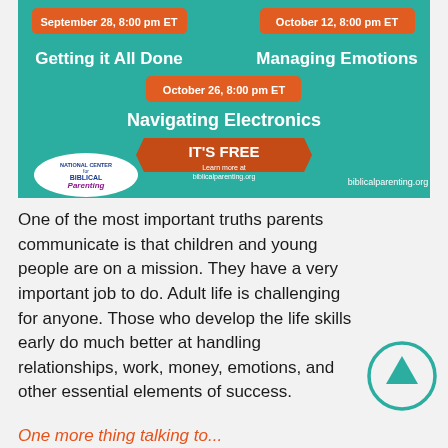[Figure (infographic): Advertisement banner for National Center for Biblical Parenting with teal/green background showing three webinar sessions: September 28 8:00 pm ET - Getting it All Done, October 12 8:00 pm ET - Managing Emotions, October 26 8:00 pm ET - Navigating Electronics. IT'S FREE banner with biblicalparenting.org URL.]
One of the most important truths parents communicate is that children and young people are on a mission. They have a very important job to do. Adult life is challenging for anyone. Those who develop the life skills early do much better at handling relationships, work, money, emotions, and other essential elements of success.